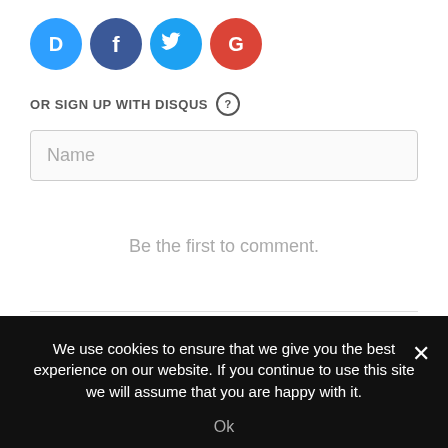[Figure (logo): Four social login icons: Disqus (blue circle with D), Facebook (dark blue circle with f), Twitter (light blue circle with bird), Google (red circle with G)]
OR SIGN UP WITH DISQUS ?
Name
Be the first to comment.
Subscribe  Do Not Sell My Data  DISQUS
We use cookies to ensure that we give you the best experience on our website. If you continue to use this site we will assume that you are happy with it.
Ok